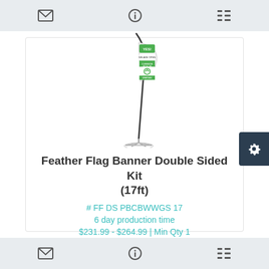toolbar with email, info, and list icons
[Figure (photo): Feather flag banner on a stand with green YES! open branding and curbside pickup messaging]
Feather Flag Banner Double Sided Kit (17ft)
# FF DS PBCBWWGS 17
6 day production time
$231.99 - $264.99 | Min Qty 1
toolbar with email, info, and list icons